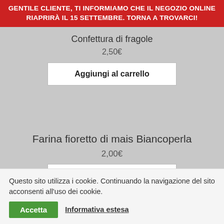GENTILE CLIENTE, TI INFORMIAMO CHE IL NEGOZIO ONLINE RIAPRIRÀ IL 15 SETTEMBRE. TORNA A TROVARCI!
Confettura di fragole
2,50€
Aggiungi al carrello
Farina fioretto di mais Biancoperla
2,00€
Aggiungi al carrello
Questo sito utilizza i cookie. Continuando la navigazione del sito acconsenti all'uso dei cookie.
Accetta
Informativa estesa